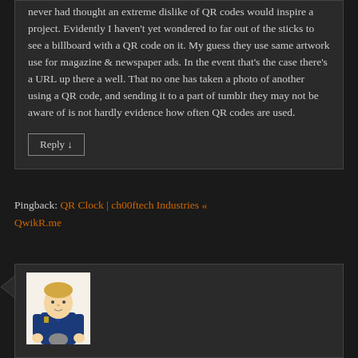never had thought an extreme dislike of QR codes would inspire a project. Evidently I haven't yet wondered to far out of the sticks to see a billboard with a QR code on it. My guess they use same artwork use for magazine & newspaper ads. In the event that's the case there's a URL up there a well. That no one has taken a photo of another using a QR code, and sending it to a part of tumblr they may not be aware of is not hardly evidence how often QR codes are used.
Reply ↓
Pingback: QR Clock | ch00ftech Industries « QwikR.me
[Figure (photo): Avatar image of a person wearing a blue uniform, appears to be a doll or figurine with light skin and blonde hair]